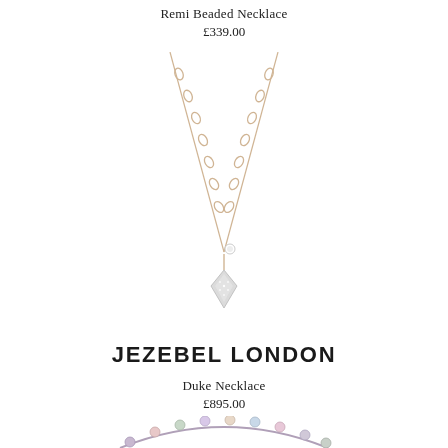Remi Beaded Necklace
£339.00
[Figure (photo): A delicate rose gold chain necklace with a small diamond-shaped pavé pendant and a tiny round crystal accent, displayed on a white background.]
JEZEBEL LONDON
Duke Necklace
£895.00
[Figure (photo): Partial view of a beaded necklace with colorful stones, partially visible at the bottom of the page.]